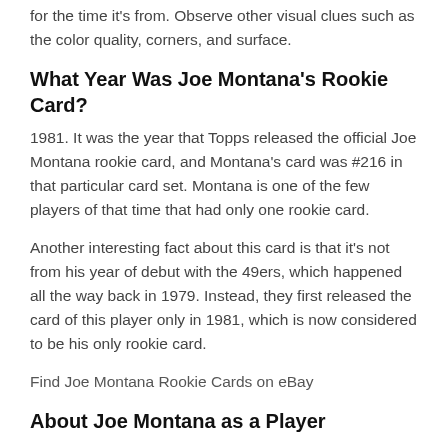for the time it's from. Observe other visual clues such as the color quality, corners, and surface.
What Year Was Joe Montana's Rookie Card?
1981. It was the year that Topps released the official Joe Montana rookie card, and Montana's card was #216 in that particular card set. Montana is one of the few players of that time that had only one rookie card.
Another interesting fact about this card is that it's not from his year of debut with the 49ers, which happened all the way back in 1979. Instead, they first released the card of this player only in 1981, which is now considered to be his only rookie card.
Find Joe Montana Rookie Cards on eBay
About Joe Montana as a Player
To start with, Joe Montana is one of the most